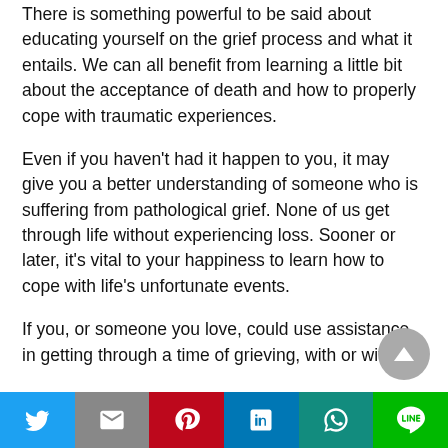There is something powerful to be said about educating yourself on the grief process and what it entails. We can all benefit from learning a little bit about the acceptance of death and how to properly cope with traumatic experiences.
Even if you haven't had it happen to you, it may give you a better understanding of someone who is suffering from pathological grief. None of us get through life without experiencing loss. Sooner or later, it's vital to your happiness to learn how to cope with life's unfortunate events.
If you, or someone you love, could use assistance in getting through a time of grieving, with or without…
Twitter | Gmail | Pinterest | LinkedIn | WhatsApp | LINE